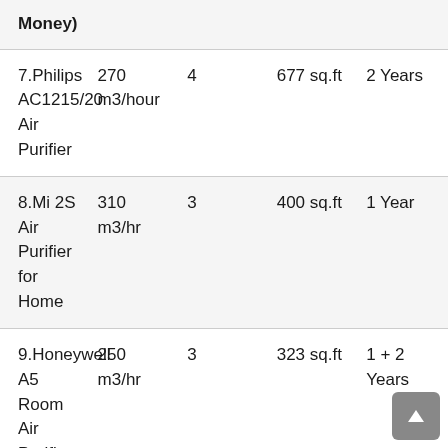| Product | Airflow | Speed | Coverage | Warranty |
| --- | --- | --- | --- | --- |
| Money) |  |  |  |  |
| 7.Philips AC1215/20 Air Purifier | 270 m3/hour | 4 | 677 sq.ft | 2 Years |
| 8.Mi 2S Air Purifier for Home | 310 m3/hr | 3 | 400 sq.ft | 1 Year |
| 9.Honeywell A5 Room Air Purifier | 250 m3/hr | 3 | 323 sq.ft | 1 + 2 Years |
| 10.Sharp Air Purifier with | 240 m3/hour | 3 | 250 sq.ft | 1 Year |